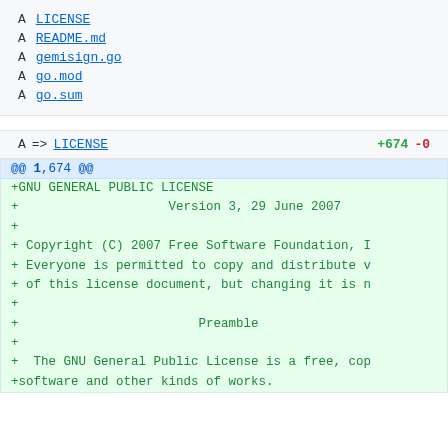A  LICENSE
A  README.md
A  gemisign.go
A  go.mod
A  go.sum
A  => LICENSE   +674 -0
@@ 1,674 @@
+GNU GENERAL PUBLIC LICENSE
+                    Version 3, 29 June 2007
+
+ Copyright (C) 2007 Free Software Foundation, I
+ Everyone is permitted to copy and distribute v
+ of this license document, but changing it is n
+
+                        Preamble
+
+  The GNU General Public License is a free, cop
+software and other kinds of works.